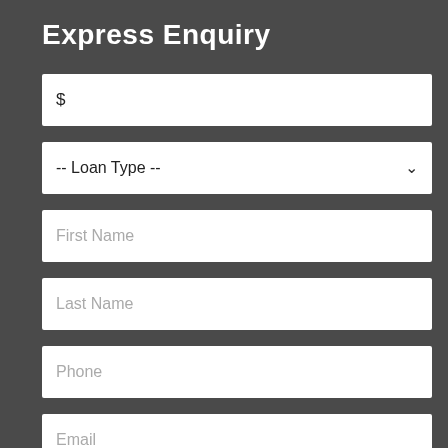Express Enquiry
$
-- Loan Type --
First Name
Last Name
Phone
Email